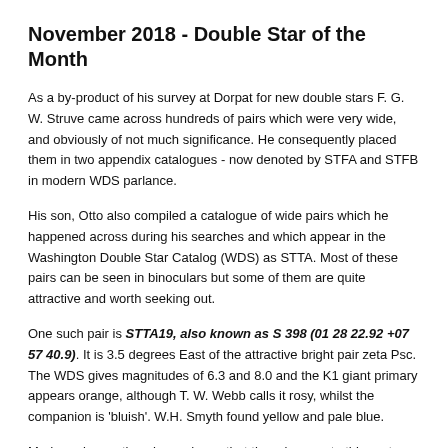November 2018 - Double Star of the Month
As a by-product of his survey at Dorpat for new double stars F. G. W. Struve came across hundreds of pairs which were very wide, and obviously of not much significance. He consequently placed them in two appendix catalogues - now denoted by STFA and STFB in modern WDS parlance.
His son, Otto also compiled a catalogue of wide pairs which he happened across during his searches and which appear in the Washington Double Star Catalog (WDS) as STTA. Most of these pairs can be seen in binoculars but some of them are quite attractive and worth seeking out.
One such pair is STTA19, also known as S 398 (01 28 22.92 +07 57 40.9). It is 3.5 degrees East of the attractive bright pair zeta Psc. The WDS gives magnitudes of 6.3 and 8.0 and the K1 giant primary appears orange, although T. W. Webb calls it rosy, whilst the companion is 'bluish'. W.H. Smyth found yellow and pale blue.
Modern observations have shown that there is more to this system than meets the eye. Gaia DR2 indicates that the stars are at the same distance (391 light years) from us and moving through space with the same considerable proper motion of more than 0".1 per year. In addition the B star is a close pair which has moved about 30 degrees in Position Angle (PA) since discovery in 1830. The separation is